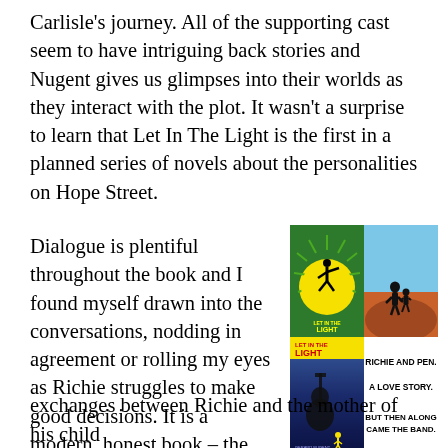Carlisle's journey. All of the supporting cast seem to have intriguing back stories and Nugent gives us glimpses into their worlds as they interact with the plot. It wasn't a surprise to learn that Let In The Light is the first in a planned series of novels about the personalities on Hope Street.
Dialogue is plentiful throughout the book and I found myself drawn into the conversations, nodding in agreement or rolling my eyes as Richie struggles to make good decisions. It is a modern, honest book – the exchanges between Richie and the mother of his child
[Figure (photo): Two book covers side by side. Top left: 'Let In The Light' green cover with silhouette of person jumping against a yellow sun. Top right: silhouette of figures on an orange/brown hill against blue sky. Bottom left: 'Let In The Light' by Gerard Nugent book cover. Bottom right: text reading 'RICHIE AND PEN. A LOVE STORY. BUT THEN ALONG CAME THE BAND.']